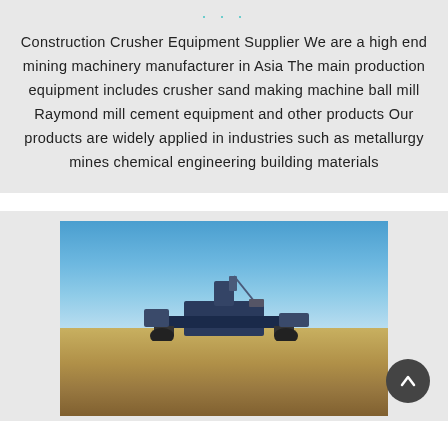Construction Crusher Equipment Supplier We are a high end mining machinery manufacturer in Asia The main production equipment includes crusher sand making machine ball mill Raymond mill cement equipment and other products Our products are widely applied in industries such as metallurgy mines chemical engineering building materials
[Figure (photo): Outdoor photo of mining/crushing equipment machinery on open land under a blue sky]